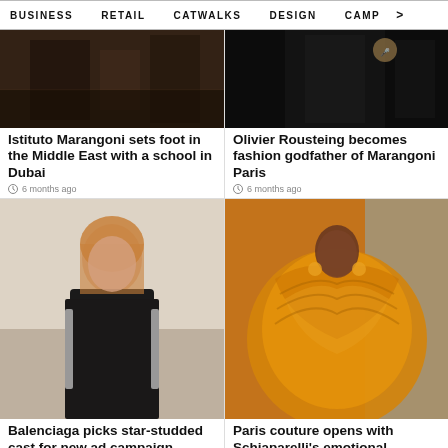BUSINESS  RETAIL  CATWALKS  DESIGN  CAMP >
[Figure (photo): Dark interior scene, Istituto Marangoni event]
Istituto Marangoni sets foot in the Middle East with a school in Dubai
6 months ago
[Figure (photo): Fashion show dark background, Marangoni Paris]
Olivier Rousteing becomes fashion godfather of Marangoni Paris
6 months ago
[Figure (photo): Woman in black Balenciaga outfit, campaign photo]
Balenciaga picks star-studded cast for new ad campaign
[Figure (photo): Model in gold sculptural coat at Paris couture show]
Paris couture opens with Schiaparelli's emotional surrealism